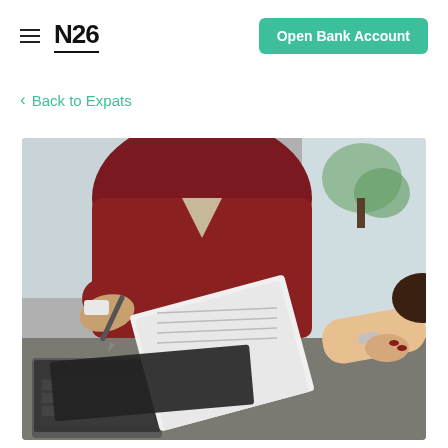N26 — Open Bank Account
< Back to Expats
[Figure (photo): Two people exchanging documents across a table with a laptop. One person in a dark red sweater holds a pen and a stack of papers, handing them to another person whose hands and arms are visible on the right, wearing a bracelet.]